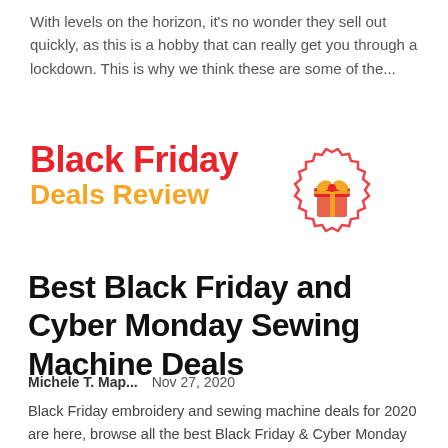With levels on the horizon, it's no wonder they sell out quickly, as this is a hobby that can really get you through a lockdown. This is why we think these are some of the...
[Figure (logo): Black Friday Deals Review logo with red 'Black Friday' text, orange 'Deals Review' text, and a red/orange gift badge icon]
Best Black Friday and Cyber Monday Sewing Machine Deals
Michele T. Map...    Nov 27, 2020
Black Friday embroidery and sewing machine deals for 2020 are here, browse all the best Black Friday & Cyber Monday Brother & Janome deals on this page Here's a list of the latest sewing machine deals for Black Friday and Cyber...